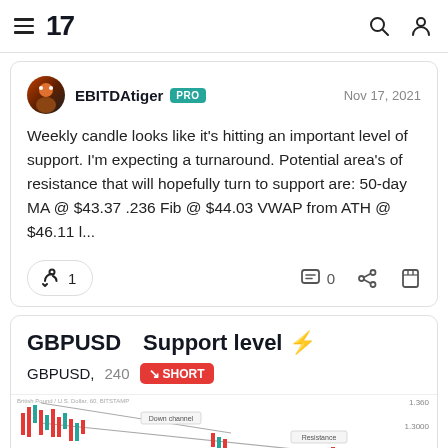TradingView navigation bar with hamburger menu, logo '17', search icon, and user icon
EBITDAtiger PRO Nov 17, 2021
Weekly candle looks like it's hitting an important level of support. I'm expecting a turnaround. Potential area's of resistance that will hopefully turn to support are: 50-day MA @ $43.37 .236 Fib @ $44.03 VWAP from ATH @ $46.11 l...
🚀 1   💬 0
GBPUSD⚡Support level ⚡
GBPUSD, 240  ↘ SHORT
[Figure (screenshot): GBPUSD 240-minute candlestick chart showing a descending channel pattern with 'Down channel' label and 'Resistance' annotation, red support zone at bottom]